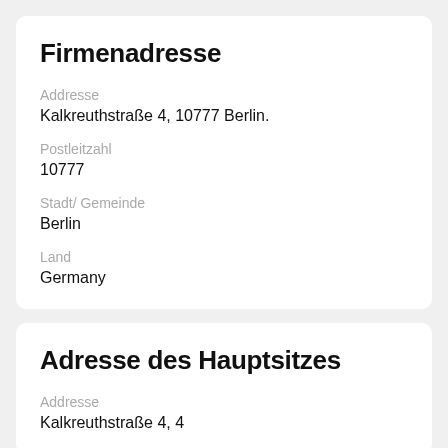Firmenadresse
Addresse
Kalkreuthstraße 4, 10777 Berlin.
Postleitzahl
10777
Stadt/ Gemeinde
Berlin
Land
Germany
Adresse des Hauptsitzes
Addresse
Kalkreuthstraße 4, 4